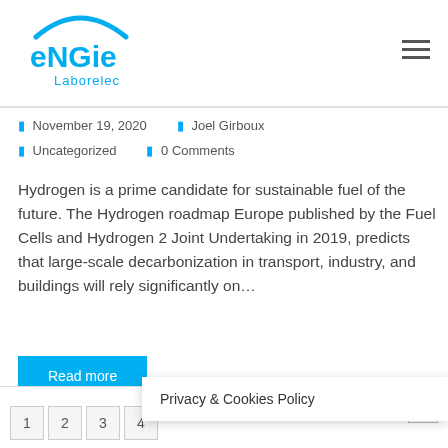[Figure (logo): ENGIE Laborelec logo with blue arc and blue text]
November 19, 2020   Joel Girboux
Uncategorized   0 Comments
Hydrogen is a prime candidate for sustainable fuel of the future. The Hydrogen roadmap Europe published by the Fuel Cells and Hydrogen 2 Joint Undertaking in 2019, predicts that large-scale decarbonization in transport, industry, and buildings will rely significantly on…
Read more
1  2  3  4
Privacy & Cookies Policy